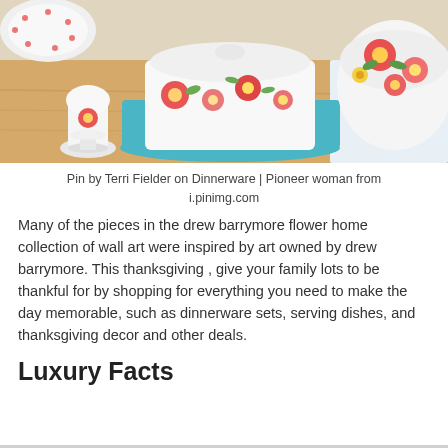[Figure (photo): Floral patterned dinnerware set on a wooden table including a butter dish with teal tray, small egg cup, and large serving bowl, all decorated with red and pink flowers on white ceramic. A floral patterned cloth napkin is visible in the background.]
Pin by Terri Fielder on Dinnerware | Pioneer woman from i.pinimg.com
Many of the pieces in the drew barrymore flower home collection of wall art were inspired by art owned by drew barrymore. This thanksgiving , give your family lots to be thankful for by shopping for everything you need to make the day memorable, such as dinnerware sets, serving dishes, and thanksgiving decor and other deals.
Luxury Facts